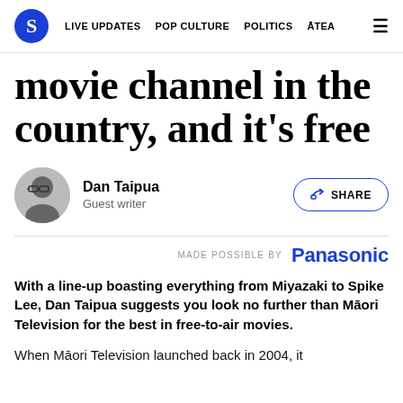S  LIVE UPDATES  POP CULTURE  POLITICS  ĀTEA  ☰
movie channel in the country, and it's free
Dan Taipua
Guest writer
MADE POSSIBLE BY  Panasonic
With a line-up boasting everything from Miyazaki to Spike Lee, Dan Taipua suggests you look no further than Māori Television for the best in free-to-air movies.
When Māori Television launched back in 2004, it